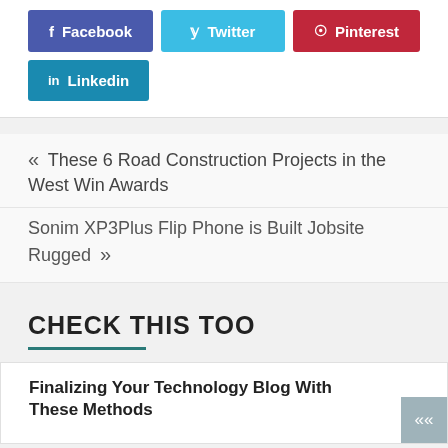[Figure (other): Social media share buttons: Facebook (purple), Twitter (light blue), Pinterest (red), Linkedin (dark blue)]
« These 6 Road Construction Projects in the West Win Awards
Sonim XP3Plus Flip Phone is Built Jobsite Rugged »
CHECK THIS TOO
Finalizing Your Technology Blog With These Methods